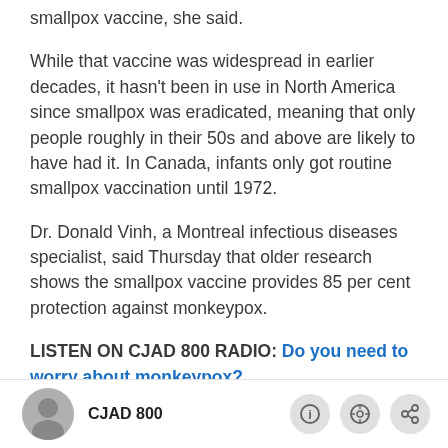smallpox vaccine, she said.
While that vaccine was widespread in earlier decades, it hasn't been in use in North America since smallpox was eradicated, meaning that only people roughly in their 50s and above are likely to have had it. In Canada, infants only got routine smallpox vaccination until 1972.
Dr. Donald Vinh, a Montreal infectious diseases specialist, said Thursday that older research shows the smallpox vaccine provides 85 per cent protection against monkeypox.
LISTEN ON CJAD 800 RADIO: Do you need to worry about monkeypox?
CJAD 800